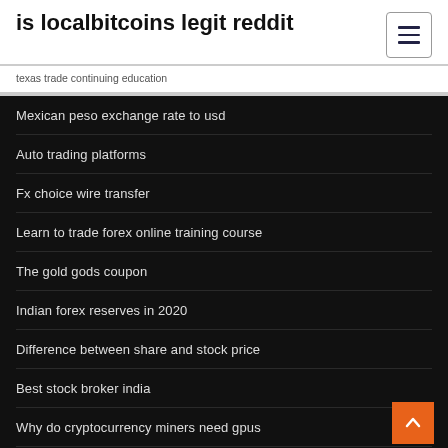is localbitcoins legit reddit
texas trade continuing education
Mexican peso exchange rate to usd
Auto trading platforms
Fx choice wire transfer
Learn to trade forex online training course
The gold gods coupon
Indian forex reserves in 2020
Difference between share and stock price
Best stock broker india
Why do cryptocurrency miners need gpus
Trade values cbs